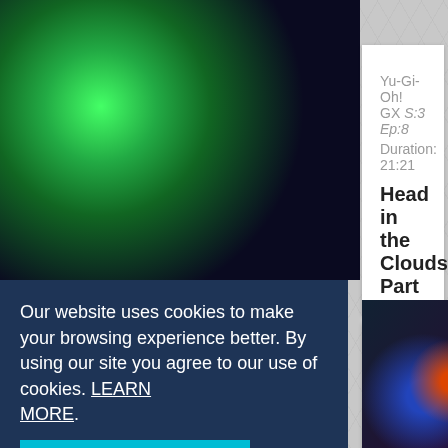[Figure (screenshot): Anime screenshot top left - dark scene with glowing green energy]
Yu-Gi-Oh! GX S:3 Ep:8
Duration: 21:21
Head in the Clouds, Part 2
Yu-Gi-Oh! GX S:1 Ep:24
Duration: 21:02
The New Chazz
Our website uses cookies to make your browsing experience better. By using our site you agree to our use of cookies. LEARN MORE.
[Figure (screenshot): Anime card artwork bottom left - colorful monster]
[Figure (screenshot): Anime card artwork bottom right - figure with bright light effects]